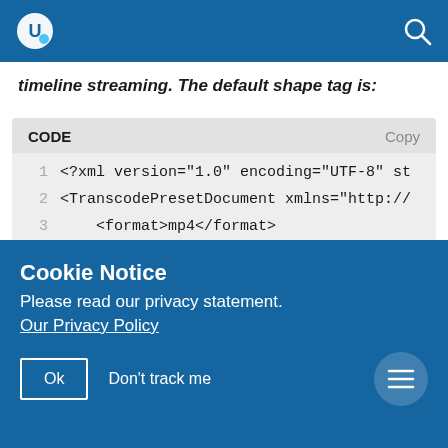[App header bar with logo and search icon]
timeline streaming. The default shape tag is:
[Figure (screenshot): Code block showing XML with line numbers. Line 1: <?xml version="1.0" encoding="UTF-8" st... Line 2: <TranscodePresetDocument xmlns="http://... Line 3: <format>mp4</format> Line 4: <audio> Line 5: <codec>aac</codec>]
Cookie Notice
Please read our privacy statement.
Our Privacy Policy
Ok  Don't track me